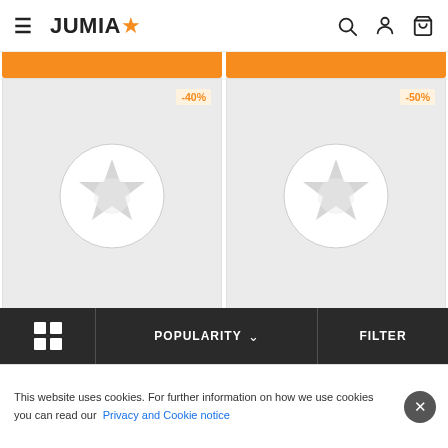JUMIA
[Figure (screenshot): Product card 1 with -40% discount badge, gray background with Jumia star logo placeholder, JUMIA FASHION brand badge, and partial text 'Generic Women One Shoulder...']
[Figure (screenshot): Product card 2 with -50% discount badge, gray background with Jumia star logo placeholder, JUMIA FASHION brand badge, and partial text 'Generic Women V-neck Solid Color...']
POPULARITY
FILTER
This website uses cookies. For further information on how we use cookies you can read our Privacy and Cookie notice